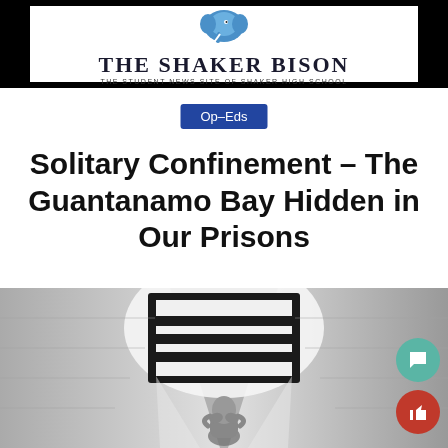The Shaker Bison — The Student News Site of Shaker High School
Op-Eds
Solitary Confinement – The Guantanamo Bay Hidden in Our Prisons
[Figure (photo): Black and white photo of a person in a prison cell looking up toward a barred window with bright light streaming through, hands clasped as if praying]